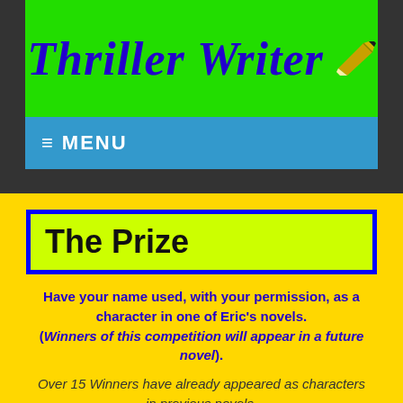Thriller Writer
≡ MENU
The Prize
Have your name used, with your permission, as a character in one of Eric's novels. (Winners of this competition will appear in a future novel).
Over 15 Winners have already appeared as characters in previous novels.